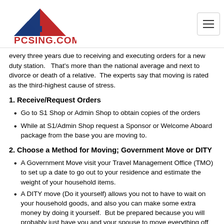PCSING.COM
every three years due to receiving and executing orders for a new duty station.   That's more than the national average and next to divorce or death of a relative.  The experts say that moving is rated as the third-highest cause of stress.
1. Receive/Request Orders
Go to S1 Shop or Admin Shop to obtain copies of the orders
While at S1/Admin Shop request a Sponsor or Welcome Aboard package from the base you are moving to.
2. Choose a Method for Moving; Government Move or DITY
A Government Move visit your Travel Management Office (TMO) to set up a date to go out to your residence and estimate the weight of your household items.
A DITY move (Do it yourself) allows you not to have to wait on your household goods, and also you can make some extra money by doing it yourself.  But be prepared because you will probably just have you and your spouse to move everything off